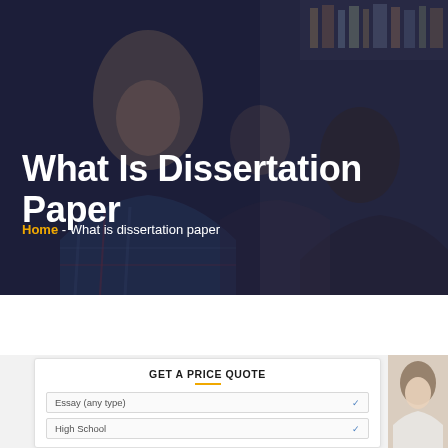[Figure (photo): Dark-toned background photo of students studying, with a girl in plaid shirt in foreground and other students in background, overlaid with dark semi-transparent overlay]
What Is Dissertation Paper
Home - What is dissertation paper
[Figure (photo): Form panel with GET A PRICE QUOTE heading, dropdown for Essay (any type), dropdown for High School, and partial photo of a young woman on the right]
GET A PRICE QUOTE